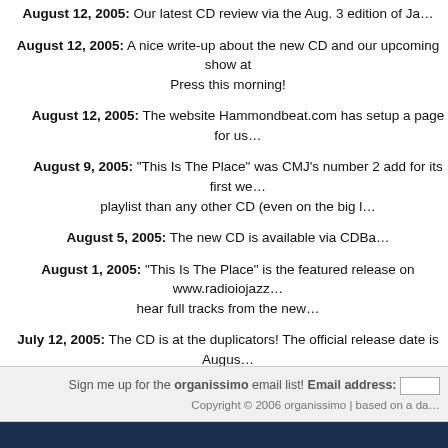August 12, 2005: Our latest CD review via the Aug. 3 edition of Ja...
August 12, 2005: A nice write-up about the new CD and our upcoming show at... Press this morning!
August 12, 2005: The website Hammondbeat.com has setup a page for us...
August 9, 2005: "This Is The Place" was CMJ's number 2 add for its first we... playlist than any other CD (even on the big l...
August 5, 2005: The new CD is available via CDBa...
August 1, 2005: "This Is The Place" is the featured release on www.radioiojazz... hear full tracks from the new...
July 12, 2005: The CD is at the duplicators! The official release date is Augus... YOUR COPY TODAY!!!
Sign me up for the organissimo email list! Email address:  [input]  Copyright © 2006 organissimo | based on a da...